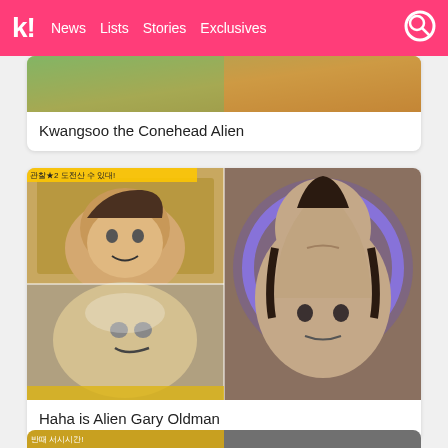k! News Lists Stories Exclusives
[Figure (photo): Partial top image of a colorful scene (Kwangsoo)]
Kwangsoo the Conehead Alien
[Figure (photo): 2x2 grid of photos: top-left shows a man in a car with Korean text overlay, bottom-left shows a distorted face on a balloon/fabric, right side shows a bald alien-like figure with blue halo from a movie (Gary Oldman in The Fifth Element)]
Haha is Alien Gary Oldman
[Figure (photo): Partial bottom card strip showing two photos side by side with Korean text overlay]